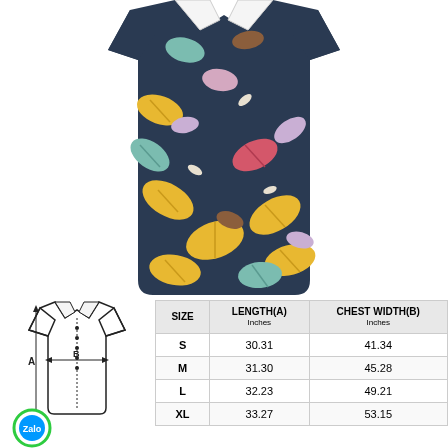[Figure (photo): Dark navy blue short-sleeve button-up shirt with colorful tropical leaf pattern in yellow, teal, pink, brown, and white on a white background.]
[Figure (illustration): Black and white line diagram of a shirt showing measurement points A (length) and B (chest width), with a green Zalo logo circle in the bottom left.]
| SIZE | LENGTH(A) Inches | CHEST WIDTH(B) Inches |
| --- | --- | --- |
| S | 30.31 | 41.34 |
| M | 31.30 | 45.28 |
| L | 32.23 | 49.21 |
| XL | 33.27 | 53.15 |